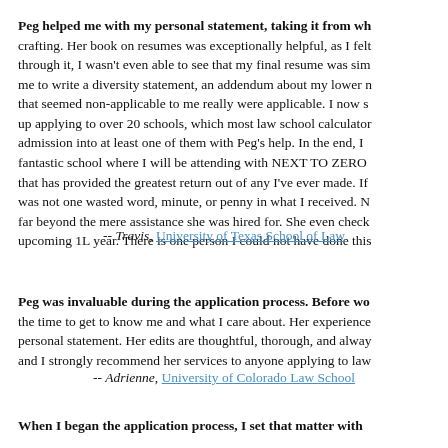Peg helped me with my personal statement, taking it from wh... crafting. Her book on resumes was exceptionally helpful, as I felt... through it, I wasn't even able to see that my final resume was sim... me to write a diversity statement, an addendum about my lower n... that seemed non-applicable to me really were applicable. I now s... up applying to over 20 schools, which most law school calculator... admission into at least one of them with Peg's help. In the end, I ... fantastic school where I will be attending with NEXT TO ZERO ... that has provided the greatest return out of any I've ever made. If... was not one wasted word, minute, or penny in what I received. N... far beyond the mere assistance she was hired for. She even check... upcoming 1L year. There is one person I could not have done this...
-- Travis, University of Texas School of Law
Peg was invaluable during the application process. Before wo... the time to get to know me and what I care about. Her experience... personal statement. Her edits are thoughtful, thorough, and alway... and I strongly recommend her services to anyone applying to law...
-- Adrienne, University of Colorado Law School
When I began the application process, I set that matter with...